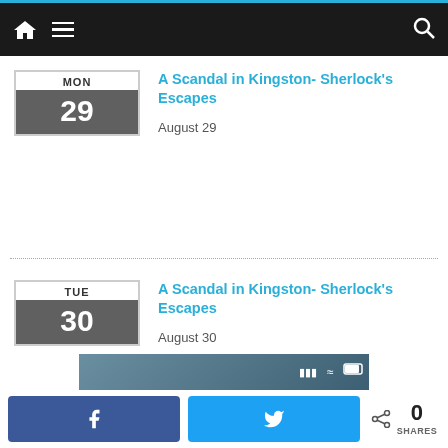[Figure (screenshot): Website navigation bar with home icon, hamburger menu, and search icon on dark background with blue top border]
A Scandal in Kingston- Sherlock’s Escapes
August 29
A Scandal in Kingston- Sherlock’s Escapes
August 30
[Figure (screenshot): Phone lock screen showing time 06:54 with two notifications from 'Your Therapist' reading 'Are you alright?' and another message below]
[Figure (screenshot): Bottom share bar with Facebook button, Twitter button, and share count showing 0 SHARES]